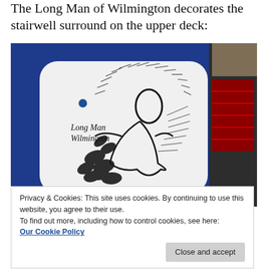The Long Man of Wilmington decorates the stairwell surround on the upper deck:
[Figure (photo): Photograph of the stairwell surround on the upper deck of a bus. The panel is white with rounded corners set against a blue bus interior. It features a black and white graphic artwork of the Long Man of Wilmington — a stylized human figure surrounded by abstract hatching and leaf/feather-like shapes. The text 'Long Man Wilmington' is printed on the panel. Red patterned seats are visible to the right.]
Privacy & Cookies: This site uses cookies. By continuing to use this website, you agree to their use.
To find out more, including how to control cookies, see here:
Our Cookie Policy
Close and accept
Compare to one of Ravilious's original